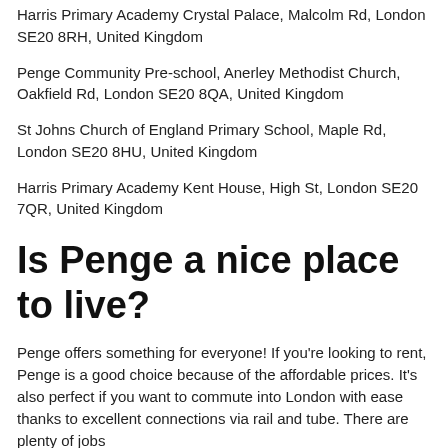Harris Primary Academy Crystal Palace, Malcolm Rd, London SE20 8RH, United Kingdom
Penge Community Pre-school, Anerley Methodist Church, Oakfield Rd, London SE20 8QA, United Kingdom
St Johns Church of England Primary School, Maple Rd, London SE20 8HU, United Kingdom
Harris Primary Academy Kent House, High St, London SE20 7QR, United Kingdom
Is Penge a nice place to live?
Penge offers something for everyone! If you're looking to rent, Penge is a good choice because of the affordable prices. It's also perfect if you want to commute into London with ease thanks to excellent connections via rail and tube. There are plenty of jobs